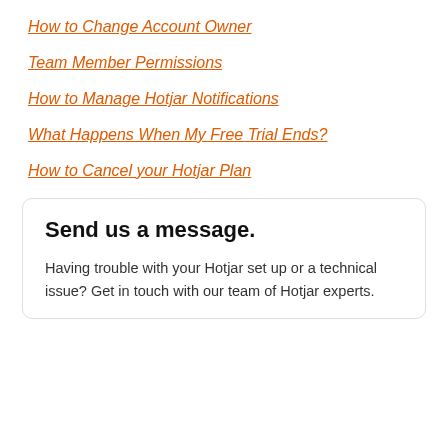How to Change Account Owner
Team Member Permissions
How to Manage Hotjar Notifications
What Happens When My Free Trial Ends?
How to Cancel your Hotjar Plan
Send us a message.
Having trouble with your Hotjar set up or a technical issue? Get in touch with our team of Hotjar experts.